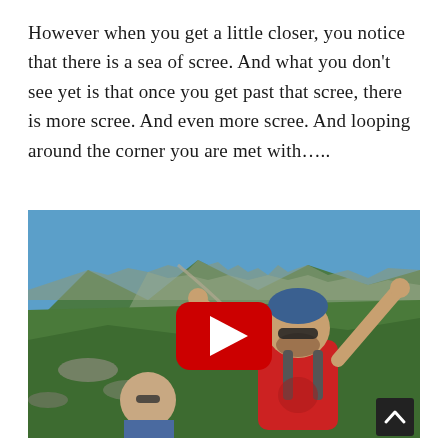However when you get a little closer, you notice that there is a sea of scree. And what you don't see yet is that once you get past that scree, there is more scree. And even more scree. And looping around the corner you are met with…..
[Figure (photo): Two hikers celebrating on a mountainside covered in green grass and scree. The man in the foreground wears a red shirt, blue beanie, and sunglasses with arms raised. A woman with sunglasses is visible in the lower left. A YouTube play button overlay is centered on the image. A back-to-top arrow button is in the bottom-right corner.]